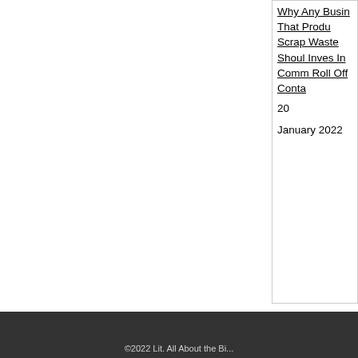Why Any Business That Produces Scrap Waste Should Invest In Commercial Roll Off Containers
20 January 2022
©2022 Lit. All About the Bi...